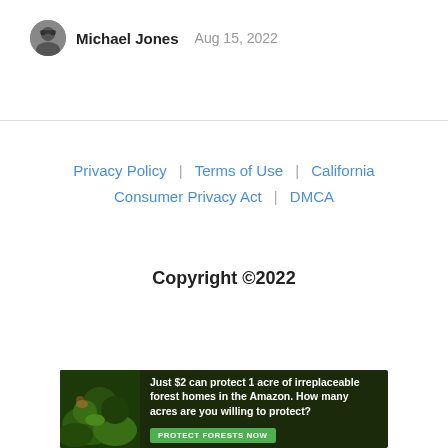Michael Jones  Aug 15, 2022
Privacy Policy | Terms of Use | California Consumer Privacy Act | DMCA
Copyright ©2022
[Figure (infographic): Advertisement banner: forest/Amazon conservation ad. Text: 'Just $2 can protect 1 acre of irreplaceable forest homes in the Amazon. How many acres are you willing to protect?' with 'PROTECT FORESTS NOW' green button.]